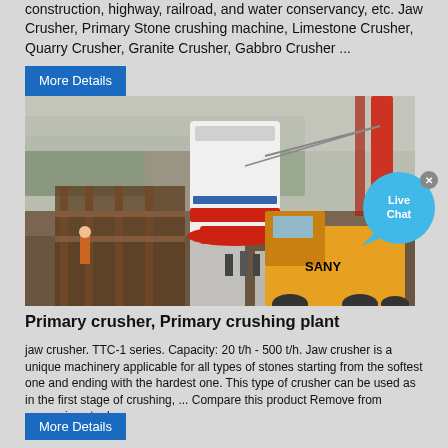construction, highway, railroad, and water conservancy, etc. Jaw Crusher, Primary Stone crushing machine, Limestone Crusher, Quarry Crusher, Granite Crusher, Gabbro Crusher ...
More Details
[Figure (photo): Construction site with a primary crusher (cone crusher) being lifted by a red crane. A yellow SANY crane/truck is on the right. Workers and scaffolding visible. Trees and road in background.]
[Figure (other): Live Chat bubble icon with X close button]
Primary crusher, Primary crushing plant
jaw crusher. TTC-1 series. Capacity: 20 t/h - 500 t/h. Jaw crusher is a unique machinery applicable for all types of stones starting from the softest one and ending with the hardest one. This type of crusher can be used as in the first stage of crushing, ... Compare this product Remove from comparison tool.
More Details